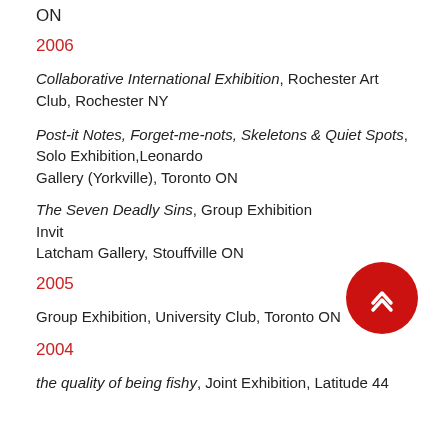ON
2006
Collaborative International Exhibition, Rochester Art Club, Rochester NY
Post-it Notes, Forget-me-nots, Skeletons & Quiet Spots, Solo Exhibition, Leonardo Gallery (Yorkville), Toronto ON
The Seven Deadly Sins, Group Exhibition Invitational, Latcham Gallery, Stouffville ON
2005
Group Exhibition, University Club, Toronto ON
2004
the quality of being fishy, Joint Exhibition, Latitude 44